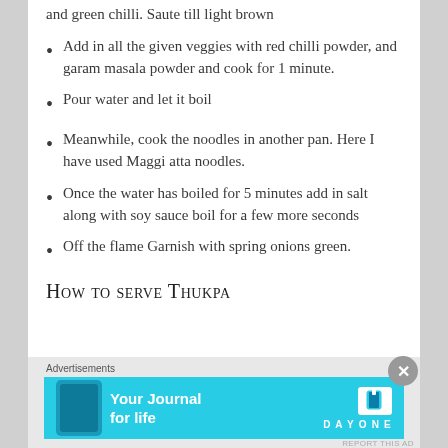and green chilli. Saute till light brown
Add in all the given veggies with red chilli powder, and garam masala powder and cook for 1 minute.
Pour water and let it boil
Meanwhile, cook the noodles in another pan. Here I have used Maggi atta noodles.
Once the water has boiled for 5 minutes add in salt along with soy sauce boil for a few more seconds
Off the flame Garnish with spring onions green.
How to serve Thukpa
Advertisements
[Figure (infographic): Advertisement banner for Day One journal app with cyan background, phone image, text 'Your Journal for life' and Day One logo]